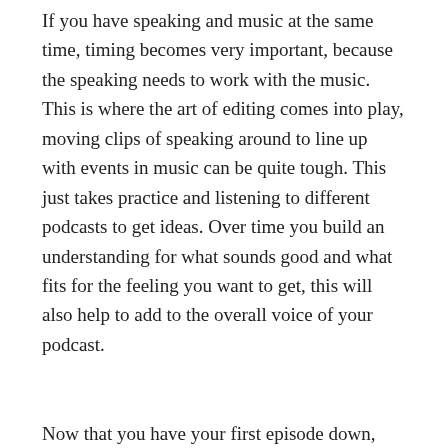If you have speaking and music at the same time, timing becomes very important, because the speaking needs to work with the music. This is where the art of editing comes into play, moving clips of speaking around to line up with events in music can be quite tough. This just takes practice and listening to different podcasts to get ideas. Over time you build an understanding for what sounds good and what fits for the feeling you want to get, this will also help to add to the overall voice of your podcast.
Now that you have your first episode down, and have a format you like, it's time to build a template. This can be in the form of notes, or a pre-spaced music track, or whatever works for you. This will help you keep the